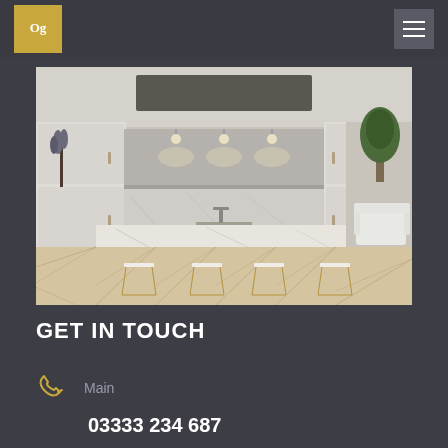Og logo and navigation hamburger menu
[Figure (photo): Interior render of a luxury modern kitchen with a large marble island, four gold bar stools, white cabinetry, pendant lighting, marble backsplash, and a herringbone wood floor. A lounge area with a white armchair and plant is visible to the right.]
GET IN TOUCH
Main
03333 234 687